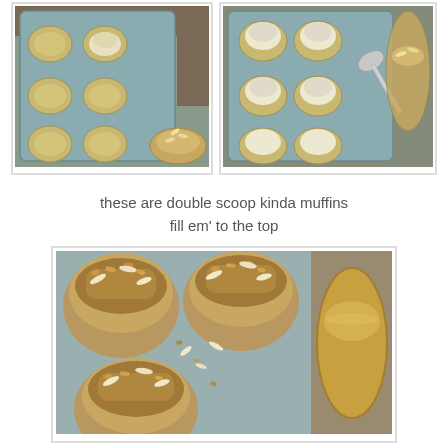[Figure (photo): Two side-by-side photos of a muffin tin. Left photo shows an empty muffin tin with paper liners and a small bowl of almond streusel topping in corner. Right photo shows muffin tin filled with batter and a spoon, with streusel topping nearby.]
these are double scoop kinda muffins
fill em' to the top
[Figure (photo): Close-up overhead photo of muffin tin filled with muffins topped with brown sugar almond streusel crumble, with a small bowl of topping visible at right edge.]